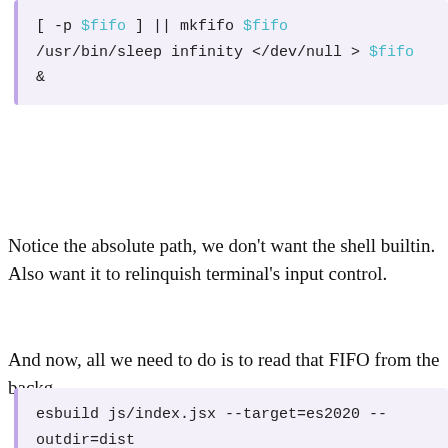[Figure (screenshot): Code block showing shell script: [ -p $fifo ] || mkfifo $fifo and /usr/bin/sleep infinity </dev/null > $fifo &]
Notice the absolute path, we don't want the shell builtin. Also want it to relinquish terminal's input control.
And now, all we need to do is to read that FIFO from the backg
[Figure (screenshot): Code block showing: esbuild js/index.jsx --target=es2020 --outdir=dist, tailwindcss --config=tailwind.config.js --input=cs, hugo server --watch # runs in foreground as you wo]